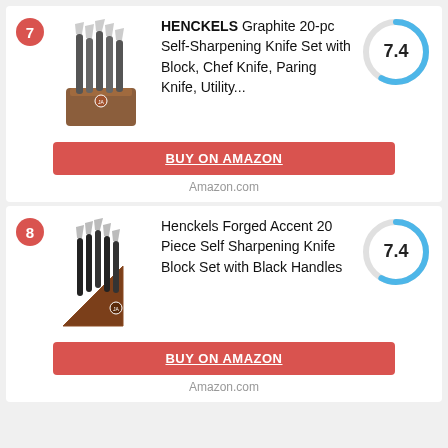7 - HENCKELS Graphite 20-pc Self-Sharpening Knife Set with Block, Chef Knife, Paring Knife, Utility... Score: 7.4
BUY ON AMAZON
Amazon.com
8 - Henckels Forged Accent 20 Piece Self Sharpening Knife Block Set with Black Handles Score: 7.4
BUY ON AMAZON
Amazon.com